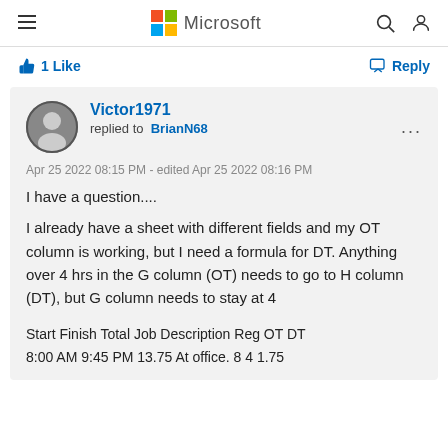Microsoft
1 Like
Reply
Victor1971 replied to BrianN68
Apr 25 2022 08:15 PM - edited Apr 25 2022 08:16 PM
I have a question.... I already have a sheet with different fields and my OT column is working, but I need a formula for DT. Anything over 4 hrs in the G column (OT) needs to go to H column (DT), but G column needs to stay at 4
Start Finish Total Job Description Reg OT DT
8:00 AM 9:45 PM 13.75 At office. 8 4 1.75